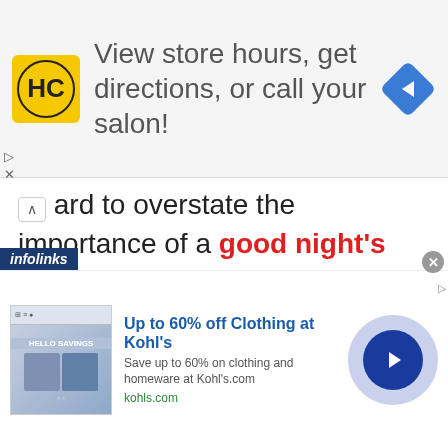[Figure (screenshot): Advertisement banner: HC logo (yellow circle with HC text), text 'View store hours, get directions, or call your salon!', blue navigation diamond icon on right]
hard to overstate the importance of a good night's sleep. Getting that full seven to nine hours of rest is something that many of us take for granted, but the consequences can be pretty dire if we go without getting enough sleep for a sufficiently long period of time. While some of us might believe that we possess the rare ability to do just fine on a small amount of rest, the opposite might
[Figure (screenshot): Bottom advertisement: Kohl's ad showing 'Up to 60% off Clothing at Kohl's', 'Save up to 60% on clothing and homeware at Kohl's.com', 'kohls.com', with product image on left and circular navigation button on right. Infolinks label visible at bottom-left of article area.]